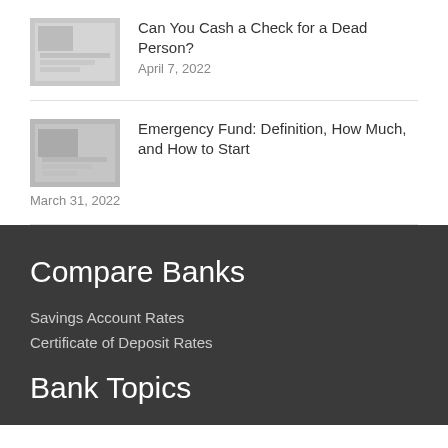[Figure (photo): Thumbnail image for article about cashing a check for a dead person]
Can You Cash a Check for a Dead Person?
April 7, 2022
[Figure (photo): Thumbnail image for article about emergency fund]
Emergency Fund: Definition, How Much, and How to Start
March 31, 2022
Compare Banks
Savings Account Rates
Certificate of Deposit Rates
Bank Topics